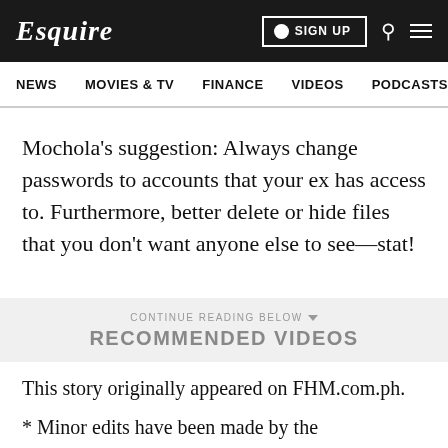Esquire | NEWS  MOVIES & TV  FINANCE  VIDEOS  PODCASTS
Mochola's suggestion: Always change passwords to accounts that your ex has access to. Furthermore, better delete or hide files that you don't want anyone else to see—stat!
CONTINUE READING BELOW ▾
RECOMMENDED VIDEOS
This story originally appeared on FHM.com.ph.
* Minor edits have been made by the